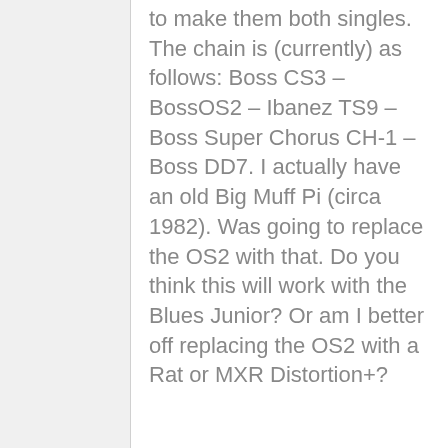to make them both singles. The chain is (currently) as follows: Boss CS3 – BossOS2 – Ibanez TS9 – Boss Super Chorus CH-1 – Boss DD7. I actually have an old Big Muff Pi (circa 1982). Was going to replace the OS2 with that. Do you think this will work with the Blues Junior? Or am I better off replacing the OS2 with a Rat or MXR Distortion+?